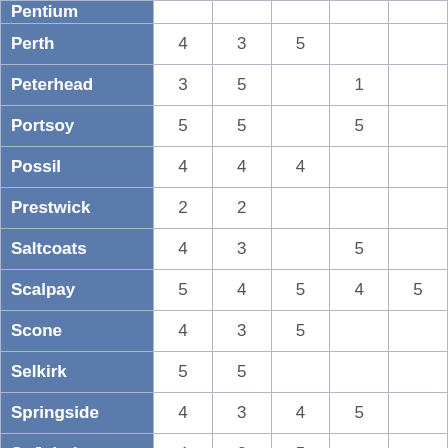| Place | Col1 | Col2 | Col3 | Col4 | Col5 |
| --- | --- | --- | --- | --- | --- |
| Pentium (partial) |  |  |  |  |  |
| Perth | 4 | 3 | 5 |  |  |
| Peterhead | 3 | 5 |  | 1 |  |
| Portsoy | 5 | 5 |  | 5 |  |
| Possil | 4 | 4 | 4 |  |  |
| Prestwick | 2 | 2 |  |  |  |
| Saltcoats | 4 | 3 |  | 5 |  |
| Scalpay | 5 | 4 | 5 | 4 | 5 |
| Scone | 4 | 3 | 5 |  |  |
| Selkirk | 5 | 5 |  |  |  |
| Springside | 4 | 3 | 4 | 5 |  |
| St John's | 4 | 2 | 5 |  |  |
| Town of Dalry |  |  |  |  |  |